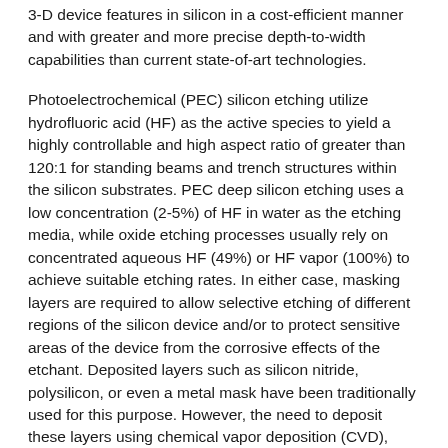3-D device features in silicon in a cost-efficient manner and with greater and more precise depth-to-width capabilities than current state-of-art technologies.
Photoelectrochemical (PEC) silicon etching utilize hydrofluoric acid (HF) as the active species to yield a highly controllable and high aspect ratio of greater than 120:1 for standing beams and trench structures within the silicon substrates. PEC deep silicon etching uses a low concentration (2-5%) of HF in water as the etching media, while oxide etching processes usually rely on concentrated aqueous HF (49%) or HF vapor (100%) to achieve suitable etching rates. In either case, masking layers are required to allow selective etching of different regions of the silicon device and/or to protect sensitive areas of the device from the corrosive effects of the etchant. Deposited layers such as silicon nitride, polysilicon, or even a metal mask have been traditionally used for this purpose. However, the need to deposit these layers using chemical vapor deposition (CVD), patterning them, and removing them creates great process flow complexity, which is very expensive and leads to high unit costs.